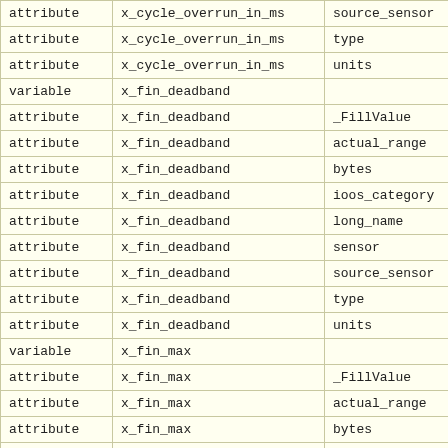|  |  |  |
| --- | --- | --- |
| attribute | x_cycle_overrun_in_ms | source_sensor |
| attribute | x_cycle_overrun_in_ms | type |
| attribute | x_cycle_overrun_in_ms | units |
| variable | x_fin_deadband |  |
| attribute | x_fin_deadband | _FillValue |
| attribute | x_fin_deadband | actual_range |
| attribute | x_fin_deadband | bytes |
| attribute | x_fin_deadband | ioos_category |
| attribute | x_fin_deadband | long_name |
| attribute | x_fin_deadband | sensor |
| attribute | x_fin_deadband | source_sensor |
| attribute | x_fin_deadband | type |
| attribute | x_fin_deadband | units |
| variable | x_fin_max |  |
| attribute | x_fin_max | _FillValue |
| attribute | x_fin_max | actual_range |
| attribute | x_fin_max | bytes |
| attribute | x_fin_max | ioos_category |
| attribute | x_fin_max | long_name |
| attribute | x_fin_max | sensor |
| attribute | x_fin_max |  |